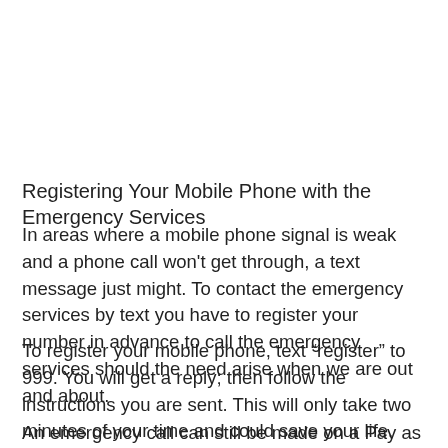Registering Your Mobile Phone with the Emergency Services
In areas where a mobile phone signal is weak and a phone call won't get through, a text message just might. To contact the emergency services by text you have to register your number in advance to call the emergency services should the need arise when we are out and about.
To register your mobile phone, text “register” to 999. You will get a reply; then follow the instructions you are sent. This will only take two minutes of your time and could save your life.
An emergency call can still be made on a Pay as You Go phone when no money has been credited and also on some phones even though they are locked with a password.